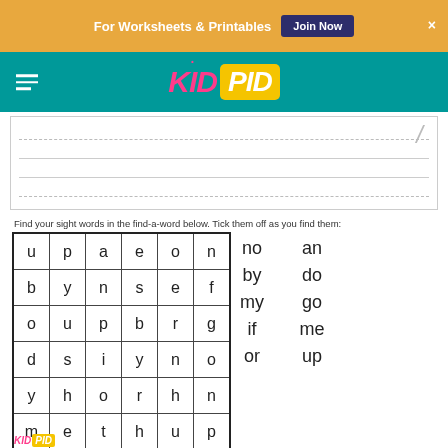For Worksheets & Printables  Join Now  ×
[Figure (logo): KidPid logo with pink KID text and yellow PID box on teal navigation bar]
[Figure (other): Handwriting practice lines with a slash mark in the top right corner]
Find your sight words in the find-a-word below. Tick them off as you find them:
| u | p | a | e | o | n |
| b | y | n | s | e | f |
| o | u | p | b | r | g |
| d | s | i | y | n | o |
| y | h | o | r | h | n |
| m | e | t | h | u | p |
no
an
by
do
my
go
if
me
or
up
KidPid logo